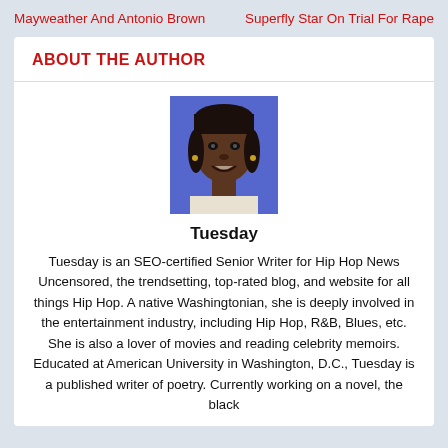Mayweather And Antonio Brown
Superfly Star On Trial For Rape
ABOUT THE AUTHOR
[Figure (photo): Portrait photo of the author Tuesday, a woman smiling at the camera with a blue background.]
Tuesday
Tuesday is an SEO-certified Senior Writer for Hip Hop News Uncensored, the trendsetting, top-rated blog, and website for all things Hip Hop. A native Washingtonian, she is deeply involved in the entertainment industry, including Hip Hop, R&B, Blues, etc. She is also a lover of movies and reading celebrity memoirs. Educated at American University in Washington, D.C., Tuesday is a published writer of poetry. Currently working on a novel, the black